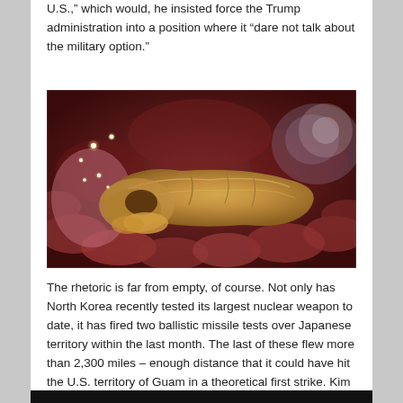U.S.," which would, he insisted force the Trump administration into a position where it “dare not talk about the military option."
[Figure (photo): Close-up medical illustration or render of a human pancreas organ, shown in reddish-brown anatomical context with golden-yellow coloring on the organ itself and glowing light spots in the background.]
The rhetoric is far from empty, of course. Not only has North Korea recently tested its largest nuclear weapon to date, it has fired two ballistic missile tests over Japanese territory within the last month. The last of these flew more than 2,300 miles – enough distance that it could have hit the U.S. territory of Guam in a theoretical first strike. Kim Jong Un has threatened Guam with a nuclear attack.